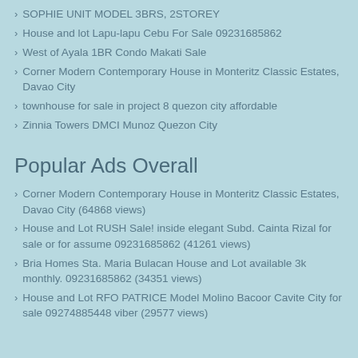SOPHIE UNIT MODEL 3BRS, 2STOREY
House and lot Lapu-lapu Cebu For Sale 09231685862
West of Ayala 1BR Condo Makati Sale
Corner Modern Contemporary House in Monteritz Classic Estates, Davao City
townhouse for sale in project 8 quezon city affordable
Zinnia Towers DMCI Munoz Quezon City
Popular Ads Overall
Corner Modern Contemporary House in Monteritz Classic Estates, Davao City (64868 views)
House and Lot RUSH Sale! inside elegant Subd. Cainta Rizal for sale or for assume 09231685862 (41261 views)
Bria Homes Sta. Maria Bulacan House and Lot available 3k monthly. 09231685862 (34351 views)
House and Lot RFO PATRICE Model Molino Bacoor Cavite City for sale 09274885448 viber (29577 views)